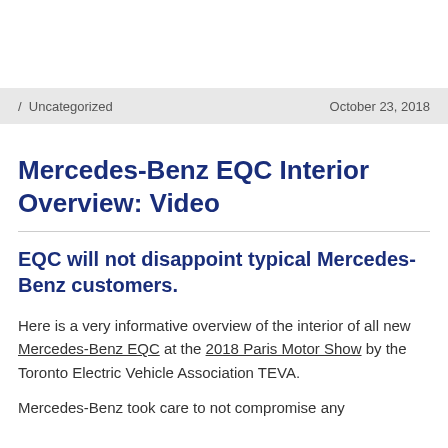/ Uncategorized   October 23, 2018
Mercedes-Benz EQC Interior Overview: Video
EQC will not disappoint typical Mercedes-Benz customers.
Here is a very informative overview of the interior of all new Mercedes-Benz EQC at the 2018 Paris Motor Show by the Toronto Electric Vehicle Association TEVA.
Mercedes-Benz took care to not compromise any